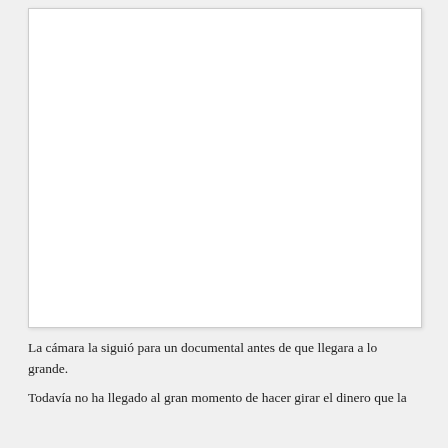[Figure (photo): A large white rectangular image/photo placeholder area with a light border and shadow.]
La cámara la siguió para un documental antes de que llegara a lo grande.
Todavía no ha llegado al gran momento de hacer girar el dinero que la